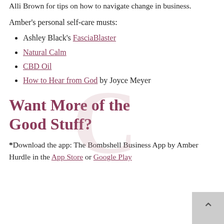Alli Brown for tips on how to navigate change in business.
Amber's personal self-care musts:
Ashley Black's FasciaBlaster
Natural Calm
CBD Oil
How to Hear from God by Joyce Meyer
Want More of the Good Stuff?
*Download the app: The Bombshell Business App by Amber Hurdle in the App Store or Google Play